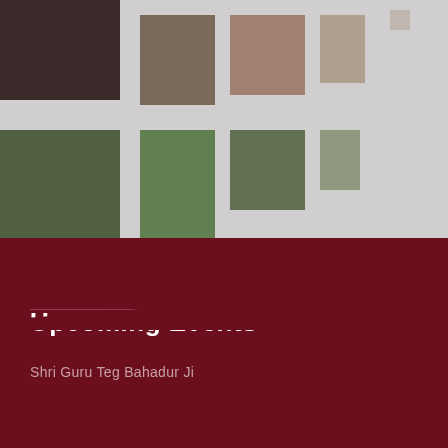[Figure (photo): A collage of outdoor/building photographs arranged in a grid-like pattern with decreasing size tiles from left to right, showing buildings, grass, and dandelions. Images fade/shrink toward the right creating a perspective effect.]
Upcoming Events
Shri Guru Teg Bahadur Ji